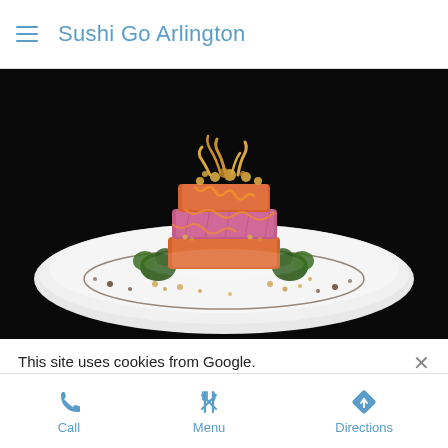Sushi Go Arlington
[Figure (photo): A beautifully plated sushi dish on a white plate with garnish, sauce drizzle, and crispy toppings against a dark background]
This site uses cookies from Google.
Learn more
Call   Menu   Directions